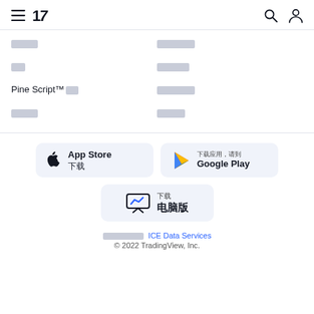TradingView navigation header with hamburger menu, logo, search and user icons
████ | ███████
██ | ██████
Pine Script™██ | ███████
████ | █████
[Figure (screenshot): App Store download button]
[Figure (screenshot): Google Play download button with Chinese text 下载应用，请到]
[Figure (screenshot): Desktop app download button with Chinese text 下载 电脑版]
██████████ ICE Data Services
© 2022 TradingView, Inc.